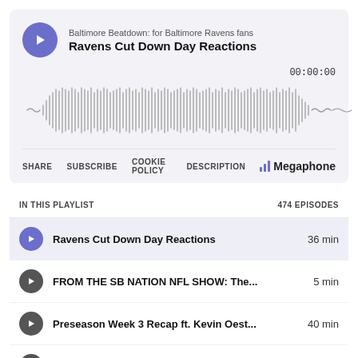Baltimore Beatdown: for Baltimore Ravens fans
Ravens Cut Down Day Reactions
[Figure (other): Audio waveform visualization showing sound bars, with timestamp 00:00:00]
SHARE  SUBSCRIBE  COOKIE POLICY  DESCRIPTION  || Megaphone
IN THIS PLAYLIST  474 EPISODES
Ravens Cut Down Day Reactions  36 min
FROM THE SB NATION NFL SHOW: The...  5 min
Preseason Week 3 Recap ft. Kevin Oest...  40 min
Preseason Week 3 Preview  40 min